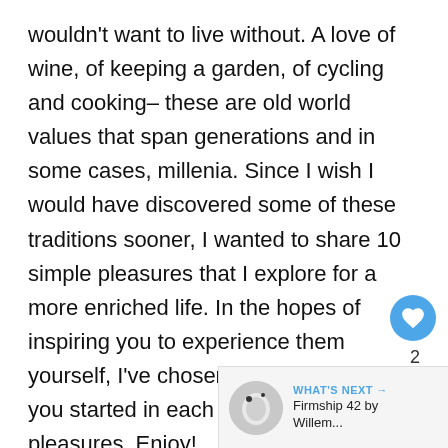wouldn't want to live without. A love of wine, of keeping a garden, of cycling and cooking– these are old world values that span generations and in some cases, millenia. Since I wish I would have discovered some of these traditions sooner, I wanted to share 10 simple pleasures that I explore for a more enriched life. In the hopes of inspiring you to experience them yourself, I've chosen 10 products to get you started in each these great pleasures. Enjoy!
[Figure (other): Like (heart) button in blue circle, like count of 2, and share button]
[Figure (other): What's Next bar with thumbnail image of Firmship 42 product and text 'WHAT'S NEXT → Firmship 42 by Willem...']